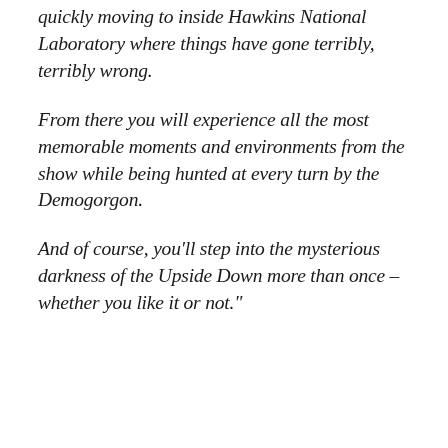quickly moving to inside Hawkins National Laboratory where things have gone terribly, terribly wrong.
From there you will experience all the most memorable moments and environments from the show while being hunted at every turn by the Demogorgon.
And of course, you'll step into the mysterious darkness of the Upside Down more than once – whether you like it or not."